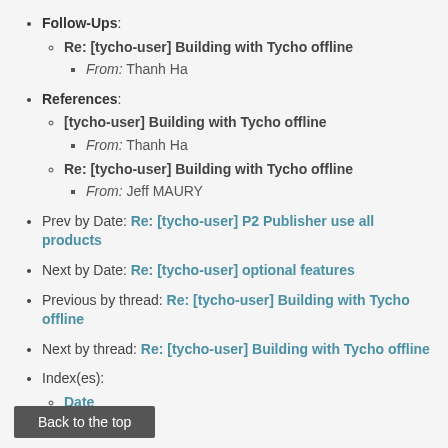Follow-Ups:
Re: [tycho-user] Building with Tycho offline
From: Thanh Ha
References:
[tycho-user] Building with Tycho offline
From: Thanh Ha
Re: [tycho-user] Building with Tycho offline
From: Jeff MAURY
Prev by Date: Re: [tycho-user] P2 Publisher use all products
Next by Date: Re: [tycho-user] optional features
Previous by thread: Re: [tycho-user] Building with Tycho offline
Next by thread: Re: [tycho-user] Building with Tycho offline
Index(es):
Date
Thread
Back to the top